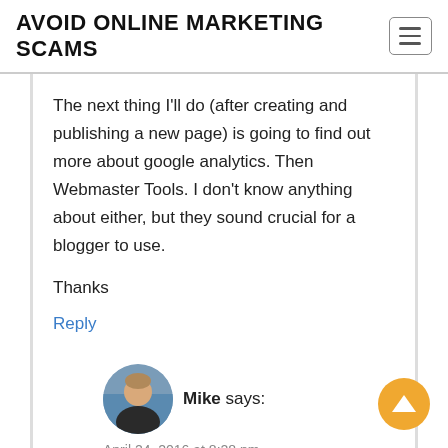AVOID ONLINE MARKETING SCAMS
The next thing I'll do (after creating and publishing a new page) is going to find out more about google analytics. Then Webmaster Tools. I don't know anything about either, but they sound crucial for a blogger to use.
Thanks
Reply
[Figure (photo): Circular avatar photo of commenter Mike]
Mike says:
April 24, 2016 at 8:28 pm